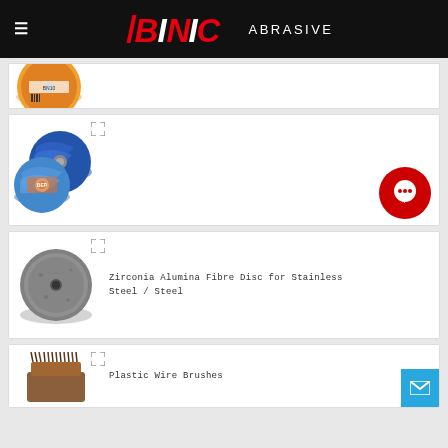BINIC ABRASIVE
[Figure (photo): Orange abrasive cutting disc product photo (partially cropped at top)]
[Figure (photo): Blue flap disc / grinding wheel product photo]
Zirconia Alumina Fibre Disc for Stainless Steel / Steel
[Figure (photo): Grey zirconia alumina fibre disc product photo]
Plastic Wire Brushes
[Figure (photo): Brown/bronze plastic wire brush product photo (partially cropped at bottom)]